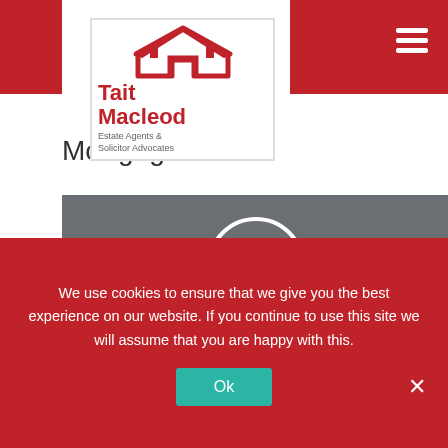[Figure (logo): Tait Macleod Estate Agents & Solicitor Advocates logo with red house icon and brand name]
Mortgage Advice
[Figure (infographic): Gray banner with phone icon circle, text 'Speak to a expert solicitor now. Call us on 01324 88 88 77']
We use cookies to ensure that we give you the best experience on our website. If you continue to use this site we will assume that you are happy with this.